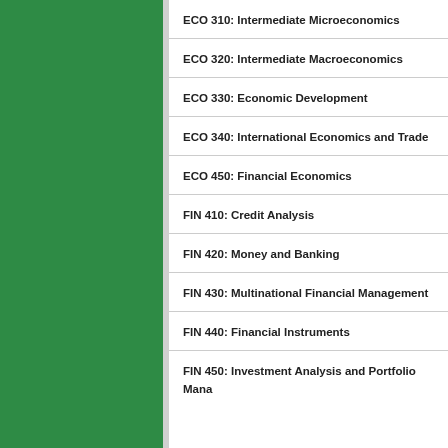ECO 310: Intermediate Microeconomics
ECO 320: Intermediate Macroeconomics
ECO 330: Economic Development
ECO 340: International Economics and Trade
ECO 450: Financial Economics
FIN 410: Credit Analysis
FIN 420: Money and Banking
FIN 430: Multinational Financial Management
FIN 440: Financial Instruments
FIN 450: Investment Analysis and Portfolio Mana...